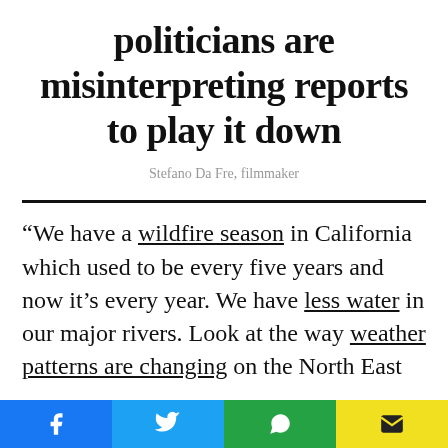politicians are misinterpreting reports to play it down
Stefano Da Fre, filmmaker
“We have a wildfire season in California which used to be every five years and now it’s every year. We have less water in our major rivers. Look at the way weather patterns are changing on the North East